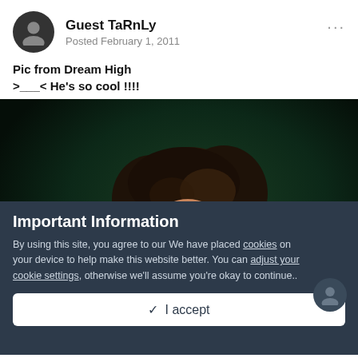Guest TaRnLy — Posted February 1, 2011
Pic from Dream High
>___< He's so cool !!!!
[Figure (photo): Dark photo of a young man with tousled brown hair looking downward, lit with warm orange/red tones against a dark green background, from the Korean drama Dream High.]
Important Information
By using this site, you agree to our We have placed cookies on your device to help make this website better. You can adjust your cookie settings, otherwise we'll assume you're okay to continue..
✓  I accept